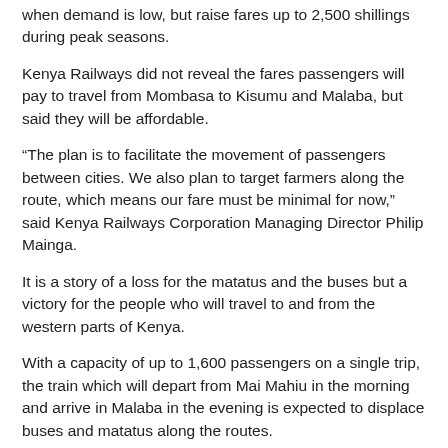when demand is low, but raise fares up to 2,500 shillings during peak seasons.
Kenya Railways did not reveal the fares passengers will pay to travel from Mombasa to Kisumu and Malaba, but said they will be affordable.
“The plan is to facilitate the movement of passengers between cities. We also plan to target farmers along the route, which means our fare must be minimal for now,” said Kenya Railways Corporation Managing Director Philip Mainga.
It is a story of a loss for the matatus and the buses but a victory for the people who will travel to and from the western parts of Kenya.
With a capacity of up to 1,600 passengers on a single trip, the train which will depart from Mai Mahiu in the morning and arrive in Malaba in the evening is expected to displace buses and matatus along the routes.
Suggested stations on the route that will cross the Rift Valley and end in Malaba include Menengai, Visoi, Sabatia, Maji Mazuri,